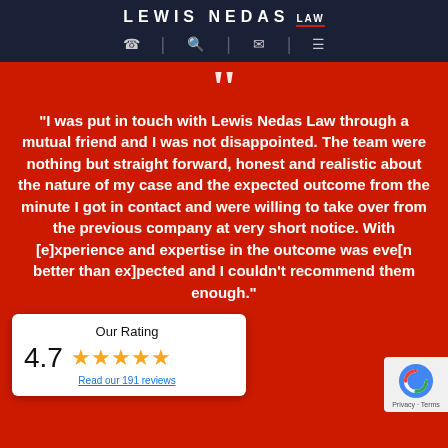LEWIS NEDAS LAW
"I was put in touch with Lewis Nedas Law through a mutual friend and I was not disappointed. The team were nothing but straight forward, honest and realistic about the nature of my case and the expected outcome from the minute I got in contact and were willing to take over from the previous company at very short notice. With [experience and expertise in the outcome was expected and I couldn't recommend them enough."
Our Rating 4.7 ★★★★★ Read our 191 reviews